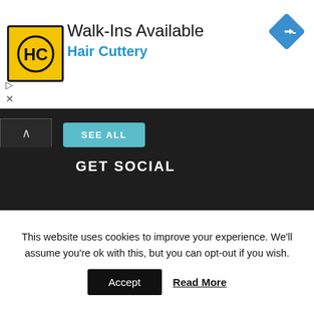[Figure (screenshot): Hair Cuttery advertisement banner with yellow HC logo, text 'Walk-Ins Available' and 'Hair Cuttery' in blue, plus a blue navigation diamond icon top right]
SEE ALL
GET SOCIAL
© 2022 | Terms Of Use | Privacy Policy | Site Map | Contributors | RSS Feed | Link to Us |
This website uses cookies to improve your experience. We'll assume you're ok with this, but you can opt-out if you wish.
Accept   Read More